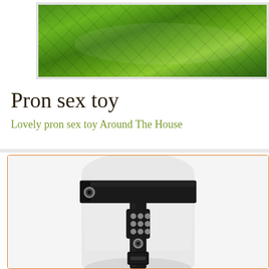[Figure (photo): Aerial/landscape photo of green terraced fields or farmland viewed from above, with a white border frame, partially cropped at top of page]
Pron sex toy
Lovely pron sex toy Around The House
[Figure (photo): Product photo of a black leather harness/belt device on a white mannequin torso, shown from waist down, with metal studs and buckles, displayed inside an orange-bordered box]